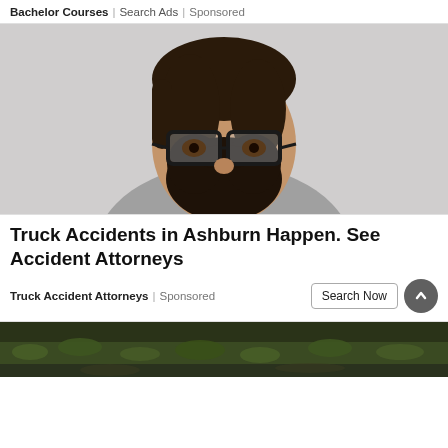Bachelor Courses | Search Ads | Sponsored
[Figure (photo): Portrait photo of a bearded man with glasses wearing a grey henley shirt against a light grey background]
Truck Accidents in Ashburn Happen. See Accident Attorneys
Truck Accident Attorneys | Sponsored
[Figure (photo): Partial photo of outdoor grassy/natural scene at the bottom of the page]